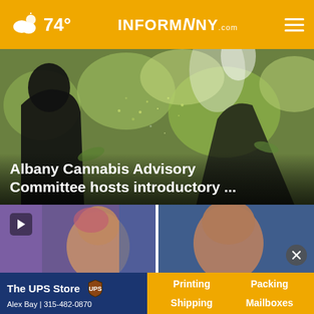74° INFORMNNY.com
[Figure (screenshot): Hero news image showing silhouette of person with garden/nature background]
Albany Cannabis Advisory Committee hosts introductory ...
[Figure (screenshot): Video thumbnail left: person in studio with play button overlay]
[Figure (screenshot): Video thumbnail right: bald person in studio with close button overlay]
[Figure (other): The UPS Store advertisement banner: Alex Bay | 315-482-0870 — Printing, Packing, Shipping, Mailboxes]